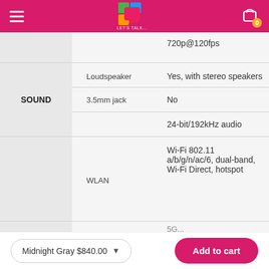LET'S TALK... — navigation bar with logo and cart
| Category | Feature | Value |
| --- | --- | --- |
|  |  | 720p@120fps |
| SOUND | Loudspeaker | Yes, with stereo speakers |
| SOUND | 3.5mm jack | No |
| SOUND |  | 24-bit/192kHz audio |
|  | WLAN | Wi-Fi 802.11 a/b/g/n/ac/6, dual-band, Wi-Fi Direct, hotspot |
|  |  | 5G... |
Midnight Gray $840.00 ▾  Add to cart